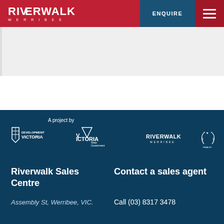RIVERWALK WERRIBEE | ENQUIRE | Menu
[Figure (logo): Dark blue footer with 'A project by' text above logos: Development Victoria, Victoria State Government, Riverwalk Werribee, and an award logo]
A project by
Riverwalk Sales Centre
Assembly St, Werribee, VIC.
Contact a sales agent
Call (03) 8317 3478